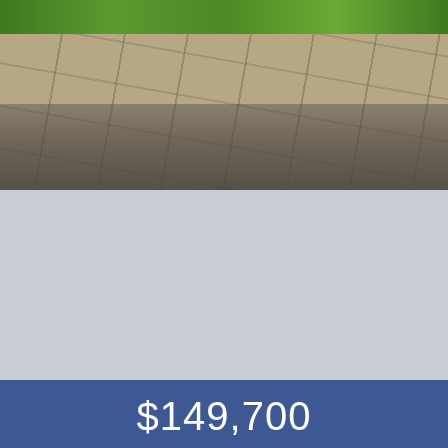[Figure (photo): Aerial/ground-level photo showing stone paving slabs with grass at top]
$149,700
11460 E 38th Street
Bedrooms: 3 Bathrooms: 2
[Figure (photo): Aerial drone photo showing a property with trees, buildings, vehicles, and a purple boundary outline marker]